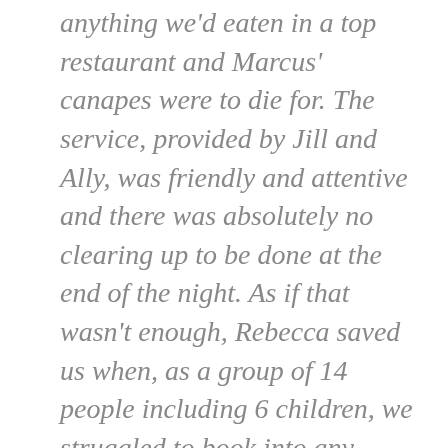anything we'd eaten in a top restaurant and Marcus' canapes were to die for. The service, provided by Jill and Ally, was friendly and attentive and there was absolutely no clearing up to be done at the end of the night. As if that wasn't enough, Rebecca saved us when, as a group of 14 people including 6 children, we struggled to book into any restaurants. At very short notice, she delivered some first class meals ready for us to pop into the oven. I can thoroughly recommend the homemade curries and chicken pie. Thank you to Rebecca and her team for making our staycation a culinary delight. We would definitely use you again and have already recommended you to friends.